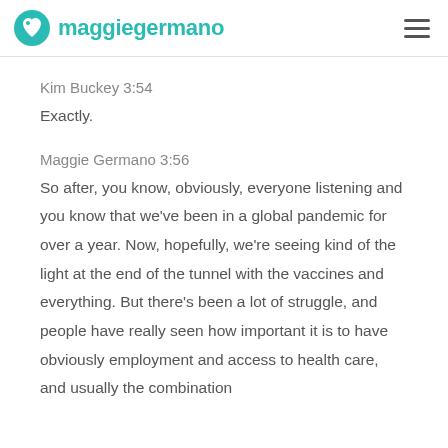maggie germano
Kim Buckey 3:54
Exactly.
Maggie Germano 3:56
So after, you know, obviously, everyone listening and you know that we've been in a global pandemic for over a year. Now, hopefully, we're seeing kind of the light at the end of the tunnel with the vaccines and everything. But there's been a lot of struggle, and people have really seen how important it is to have obviously employment and access to health care, and usually the combination